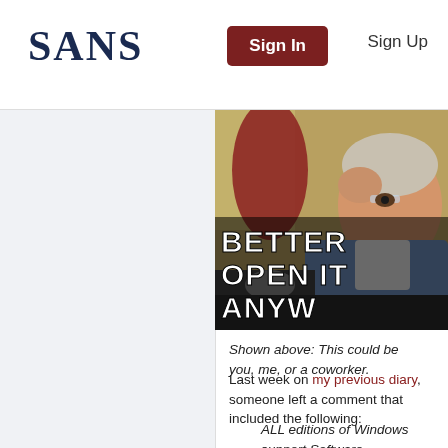SANS  Sign In  Sign Up
[Figure (photo): Meme image of an elderly woman at a computer with text 'BETTER OPEN IT ANYW...' overlaid at the bottom in large white Impact font]
Shown above: This could be you, me, or a coworker.
Last week on my previous diary, someone left a comment that included the following:
ALL editions of Windows support Software Restriction Policies; every...